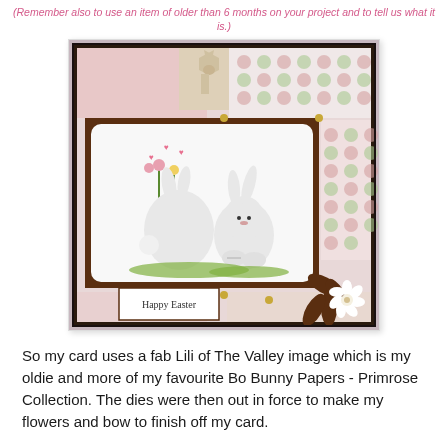(Remember also to use an item of older than 6 months on your project and to tell us what it is.)
[Figure (photo): A handmade Easter card featuring two white bunnies with flowers and hearts, decorated with patterned scrapbook papers in pink and green polka dots, brown floral die cuts, a white flower embellishment, a bow, and a 'Happy Easter' sentiment tag.]
So my card uses a fab Lili of The Valley image which is my oldie and more of my favourite Bo Bunny Papers - Primrose Collection.  The dies were then out in force to make my flowers and bow to finish off my card.